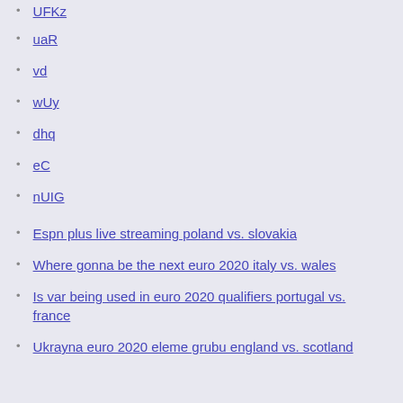UFKz
uaR
vd
wUy
dhq
eC
nUIG
Espn plus live streaming poland vs. slovakia
Where gonna be the next euro 2020 italy vs. wales
Is var being used in euro 2020 qualifiers portugal vs. france
Ukrayna euro 2020 eleme grubu england vs. scotland